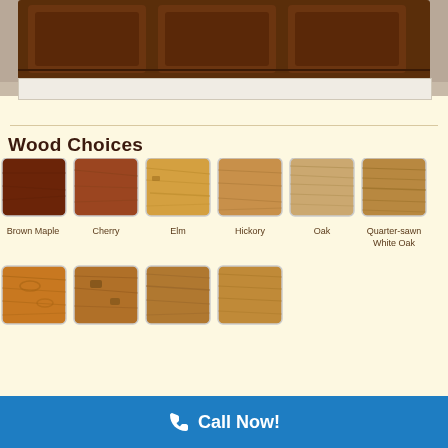[Figure (photo): Wooden furniture cabinet with dark brown finish shown from front angle]
Wood Choices
[Figure (photo): Grid of wood swatch samples: Brown Maple, Cherry, Elm, Hickory, Oak, Quarter-sawn White Oak in first row; four additional wood swatches in second row]
Call Now!